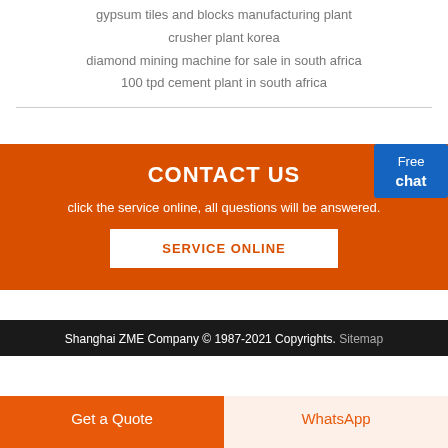gypsum tiles and blocks manufacturing plant
crusher plant korea
diamond mining machine for sale in south africa
100 tpd cement plant in south africa
CONTACT US
click the service online, all questions will be answered.
SERVICE ONLINE
Shanghai ZME Company © 1987-2021 Copyrights. Sitemap
Get a Quote
WhatsApp